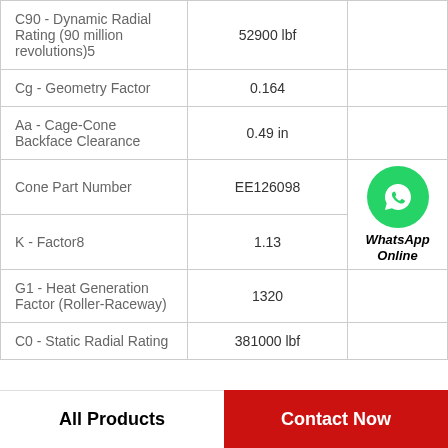| Property | Value |  |
| --- | --- | --- |
| C90 - Dynamic Radial Rating (90 million revolutions)5 | 52900 lbf |  |
| Cg - Geometry Factor | 0.164 |  |
| Aa - Cage-Cone Backface Clearance | 0.49 in |  |
| Cone Part Number | EE126098 | [WhatsApp Online icon] |
| K - Factor8 | 1.13 |  |
| G1 - Heat Generation Factor (Roller-Raceway) | 1320 |  |
| C0 - Static Radial Rating | 381000 lbf |  |
All Products   Contact Now